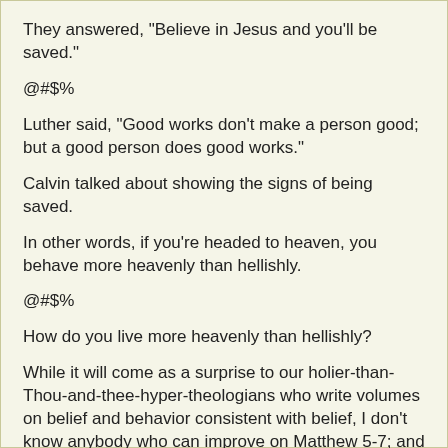They answered, "Believe in Jesus and you'll be saved."
@#$%
Luther said, "Good works don't make a person good; but a good person does good works."
Calvin talked about showing the signs of being saved.
In other words, if you're headed to heaven, you behave more heavenly than hellishly.
@#$%
How do you live more heavenly than hellishly?
While it will come as a surprise to our holier-than-Thou-and-thee-hyper-theologians who write volumes on belief and behavior consistent with belief, I don't know anybody who can improve on Matthew 5-7; and my guess is there's enough for us in there to keep us busy now until then.